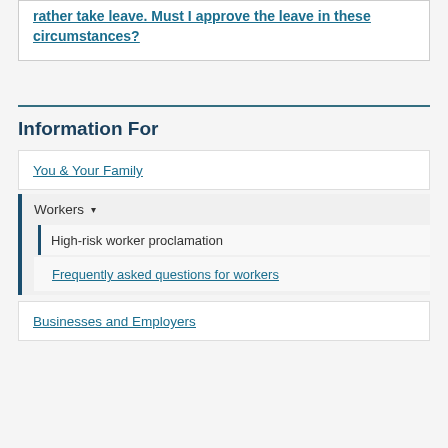rather take leave. Must I approve the leave in these circumstances?
Information For
You & Your Family
Workers ▾
High-risk worker proclamation
Frequently asked questions for workers
Businesses and Employers